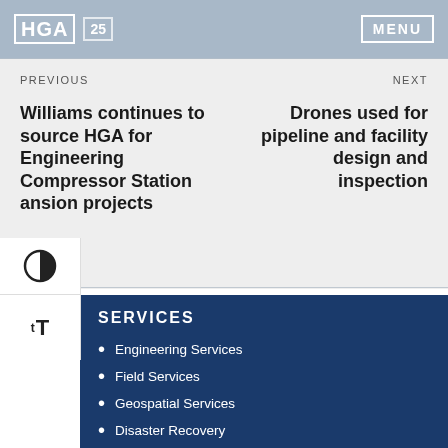HGA | 25 | MENU
PREVIOUS
NEXT
Williams continues to source HGA for Engineering Compressor Station ansion projects
Drones used for pipeline and facility design and inspection
SERVICES
Engineering Services
Field Services
Geospatial Services
Disaster Recovery
Staffing